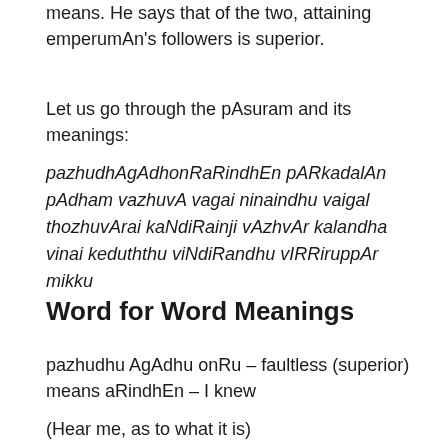means. He says that of the two, attaining emperumAn's followers is superior.
Let us go through the pAsuram and its meanings:
pazhudhAgAdhonRaRindhEn pARkadalAn pAdham vazhuvA vagai ninaindhu vaigal thozhuvArai kaNdiRainji vAzhvAr kalandha vinai keduththu viNdiRandhu vIRRiruppAr mikku
Word for Word Meanings
pazhudhu AgAdhu onRu – faultless (superior) means aRindhEn – I knew
(Hear me, as to what it is)
pAl kadalAn pAdham – the divine feet of